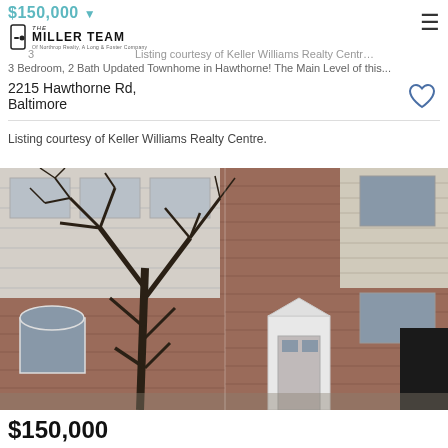$150,000 | The Miller Team | Of Northrop Realty, A Long & Foster Company
3 Listing courtesy of Keller Williams Realty Centre
3 Bedroom, 2 Bath Updated Townhome in Hawthorne! The Main Level of this...
2215 Hawthorne Rd, Baltimore
Listing courtesy of Keller Williams Realty Centre.
[Figure (photo): Exterior photo of a brick townhome at 2215 Hawthorne Rd, Baltimore. A bare winter tree stands in front. The building shows brick facade with white-trimmed windows and a white front door with a small portico. Adjacent siding-clad structure visible to the right.]
$150,000